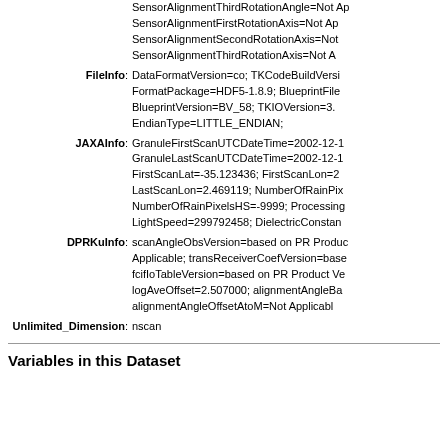SensorAlignmentThirdRotationAngle=Not Applicable; SensorAlignmentFirstRotationAxis=Not Applicable; SensorAlignmentSecondRotationAxis=Not Applicable; SensorAlignmentThirdRotationAxis=Not Applicable
FileInfo: DataFormatVersion=co; TKCodeBuildVersion=...; FormatPackage=HDF5-1.8.9; BlueprintFile=...; BlueprintVersion=BV_58; TKIOVersion=3.x; EndianType=LITTLE_ENDIAN;
JAXAInfo: GranuleFirstScanUTCDateTime=2002-12-1...; GranuleLastScanUTCDateTime=2002-12-1...; FirstScanLat=-35.123436; FirstScanLon=2x...; LastScanLon=2.469119; NumberOfRainPixels=...; NumberOfRainPixelsHS=-9999; ProcessingDate=...; LightSpeed=299792458; DielectricConstan...
DPRKuInfo: scanAngleObsVersion=based on PR Product...; Applicable; transReceiverCoefVersion=base...; fcifIoTableVersion=based on PR Product Ve...; logAveOffset=2.507000; alignmentAngleBa...; alignmentAngleOffsetAtoM=Not Applicable
Unlimited_Dimension: nscan
Variables in this Dataset